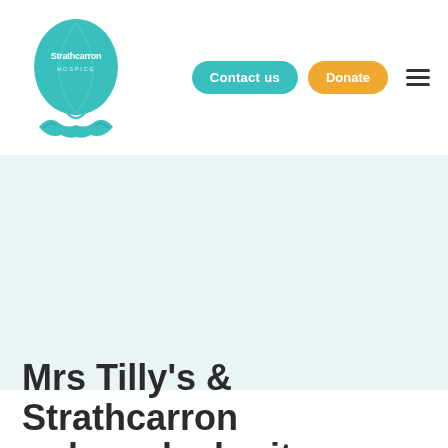[Figure (logo): Strathcarron Hospice logo: teal hot air balloon shape with hands cradling it, text 'Strathcarron HOSPICE' inside]
Contact us
Donate
Mrs Tilly's & Strathcarron re-launch charity